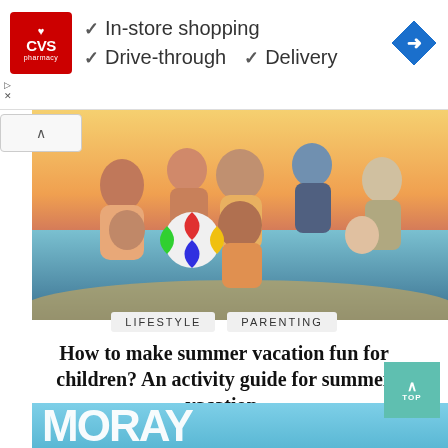[Figure (infographic): CVS Pharmacy advertisement banner showing logo with checkmarks for In-store shopping, Drive-through, and Delivery services, with a blue navigation diamond on the right]
[Figure (photo): Family of 6-7 people at a beach, smiling and posing for photo with a colorful beach ball, sunset sky in background]
LIFESTYLE   PARENTING
How to make summer vacation fun for children? An activity guide for summer vacation.
December 2, 2021
[Figure (photo): Partial view of a colorful text graphic with letters on a blue beach background, showing partial word]